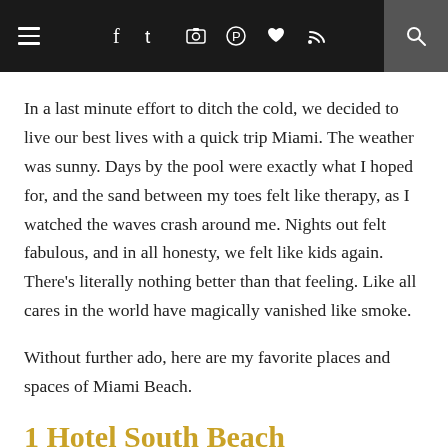≡  f  t  ☷  ⊕  ♥  )))  🔍
In a last minute effort to ditch the cold, we decided to live our best lives with a quick trip Miami. The weather was sunny. Days by the pool were exactly what I hoped for, and the sand between my toes felt like therapy, as I watched the waves crash around me. Nights out felt fabulous, and in all honesty, we felt like kids again. There's literally nothing better than that feeling. Like all cares in the world have magically vanished like smoke.
Without further ado, here are my favorite places and spaces of Miami Beach.
1 Hotel South Beach